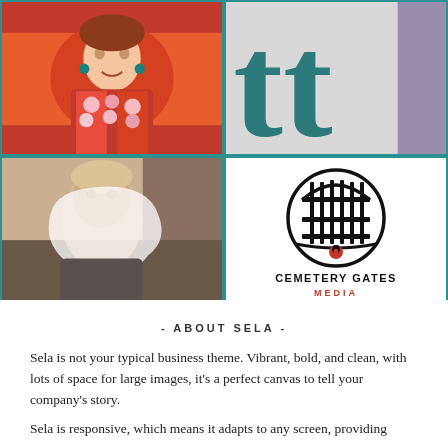[Figure (photo): Woman in colorful Hawaiian attire with floral lei, smiling]
[Figure (photo): Typographic image showing large teal letters on light background]
[Figure (photo): Vintage black and white photo of a child]
[Figure (logo): Cemetery Gates Media logo - circular gate design in black with red accent, bold text below reading CEMETERY GATES MEDIA]
- ABOUT SELA -
Sela is not your typical business theme. Vibrant, bold, and clean, with lots of space for large images, it's a perfect canvas to tell your company's story.
Sela is responsive, which means it adapts to any screen, providing